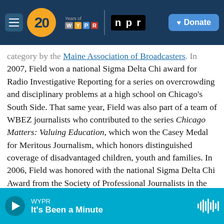[Figure (screenshot): WYPR 20 Years header bar with hamburger menu, 20th anniversary logo in orange, WYPR letters in colored boxes, vertical divider, NPR logo in black box, and blue Donate button]
category by the Maine Association of Broadcasters. In 2007, Field won a national Sigma Delta Chi award for Radio Investigative Reporting for a series on overcrowding and disciplinary problems at a high school on Chicago's South Side. That same year, Field was also part of a team of WBEZ journalists who contributed to the series Chicago Matters: Valuing Education, which won the Casey Medal for Meritous Journalism, which honors distinguished coverage of disadvantaged children, youth and families. In 2006, Field was honored with the national Sigma Delta Chi Award from the Society of Professional Journalists in the Radio Feature Reporting category for a two-month series on school truancy in Rockford, Illinois. In 2005, the National Headliner Awards honored Field for his ongoing coverage of school finance challenges in a poor suburb on south of Chicago, near the Indiana border.
[Figure (screenshot): Audio player bar in cyan/teal with play button, WYPR station label, 'It's Been a Minute' show title, and waveform icon on the right]